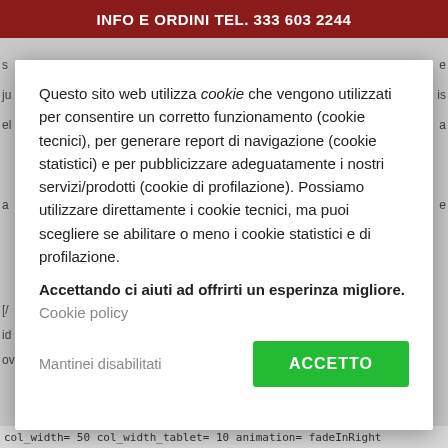INFO E ORDINI TEL. 333 603 2244
Questo sito web utilizza cookie che vengono utilizzati per consentire un corretto funzionamento (cookie tecnici), per generare report di navigazione (cookie statistici) e per pubblicizzare adeguatamente i nostri servizi/prodotti (cookie di profilazione). Possiamo utilizzare direttamente i cookie tecnici, ma puoi scegliere se abilitare o meno i cookie statistici e di profilazione. Accettando ci aiuti ad offrirti un esperinza migliore. Cookie policy
Mantinei disabilitati
ACCETTO
col_width= 50  col_width_tablet= 10  animation= fadeInRight